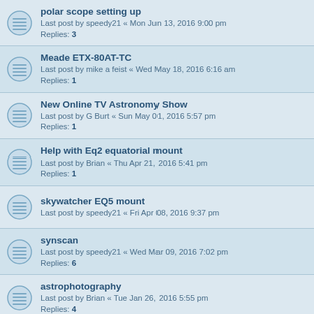polar scope setting up
Last post by speedy21 « Mon Jun 13, 2016 9:00 pm
Replies: 3
Meade ETX-80AT-TC
Last post by mike a feist « Wed May 18, 2016 6:16 am
Replies: 1
New Online TV Astronomy Show
Last post by G Burt « Sun May 01, 2016 5:57 pm
Replies: 1
Help with Eq2 equatorial mount
Last post by Brian « Thu Apr 21, 2016 5:41 pm
Replies: 1
skywatcher EQ5 mount
Last post by speedy21 « Fri Apr 08, 2016 9:37 pm
synscan
Last post by speedy21 « Wed Mar 09, 2016 7:02 pm
Replies: 6
astrophotography
Last post by Brian « Tue Jan 26, 2016 5:55 pm
Replies: 4
learning the cosmos
Last post by speedy21 « Thu Jan 21, 2016 7:06 pm
Brand new to this game
Last post by Brian « Fri Jan 08, 2016 7:11 pm
Replies: 1
Help
Last post by speedy21 « Thu Jan 07, 2016 1:00 pm